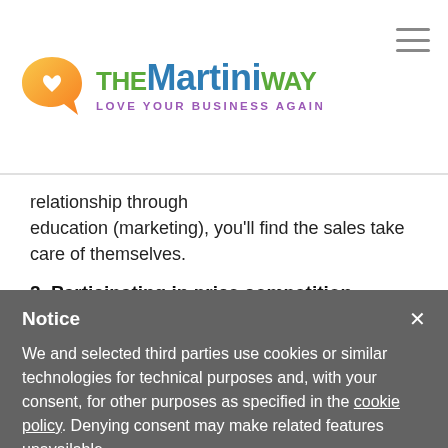[Figure (logo): The Martini Way logo with speech bubble icon containing a heart, text 'THE MARTINI WAY' in green and blue, tagline 'LOVE YOUR BUSINESS AGAIN' in purple]
relationship through education (marketing), you'll find the sales take care of themselves.
2. Participating in price competition.
Notice
We and selected third parties use cookies or similar technologies for technical purposes and, with your consent, for other purposes as specified in the cookie policy. Denying consent may make related features unavailable.
You can consent to the use of such technologies by closing this notice, by scrolling this page, by interacting with any link or button outside of this notice or by continuing to browse otherwise.